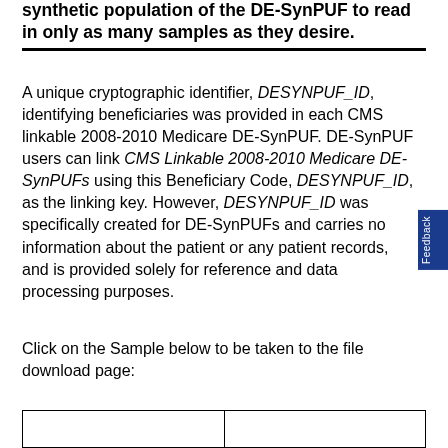synthetic population of the DE-SynPUF to read in only as many samples as they desire.
A unique cryptographic identifier, DESYNPUF_ID, identifying beneficiaries was provided in each CMS linkable 2008-2010 Medicare DE-SynPUF. DE-SynPUF users can link CMS Linkable 2008-2010 Medicare DE-SynPUFs using this Beneficiary Code, DESYNPUF_ID, as the linking key. However, DESYNPUF_ID was specifically created for DE-SynPUFs and carries no information about the patient or any patient records, and is provided solely for reference and data processing purposes.
Click on the Sample below to be taken to the file download page:
|  |  |